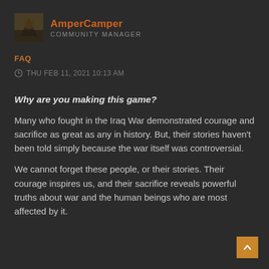[Figure (illustration): User avatar thumbnail showing a dark military-themed image next to username AmperCamper with role Community Manager]
FAQ
THU FEB 11, 2021 10:13 AM
Why are you making this game?
Many who fought in the Iraq War demonstrated courage and sacrifice as great as any in history. But, their stories haven't been told simply because the war itself was controversial.
We cannot forget these people, or their stories. Their courage inspires us, and their sacrifice reveals powerful truths about war and the human beings who are most affected by it.